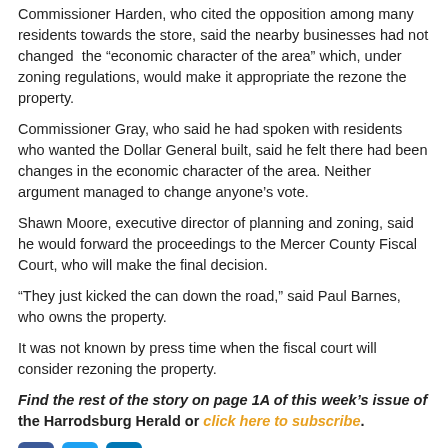Commissioner Harden, who cited the opposition among many residents towards the store, said the nearby businesses had not changed the "economic character of the area" which, under zoning regulations, would make it appropriate the rezone the property.
Commissioner Gray, who said he had spoken with residents who wanted the Dollar General built, said he felt there had been changes in the economic character of the area. Neither argument managed to change anyone's vote.
Shawn Moore, executive director of planning and zoning, said he would forward the proceedings to the Mercer County Fiscal Court, who will make the final decision.
“They just kicked the can down the road,” said Paul Barnes, who owns the property.
It was not known by press time when the fiscal court will consider rezoning the property.
Find the rest of the story on page 1A of this week’s issue of the Harrodsburg Herald or click here to subscribe.
[Figure (other): Social media share buttons: Facebook, Twitter, LinkedIn]